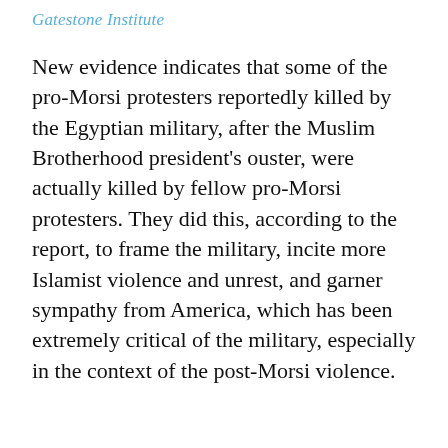Gatestone Institute
New evidence indicates that some of the pro-Morsi protesters reportedly killed by the Egyptian military, after the Muslim Brotherhood president's ouster, were actually killed by fellow pro-Morsi protesters. They did this, according to the report, to frame the military, incite more Islamist violence and unrest, and garner sympathy from America, which has been extremely critical of the military, especially in the context of the post-Morsi violence.